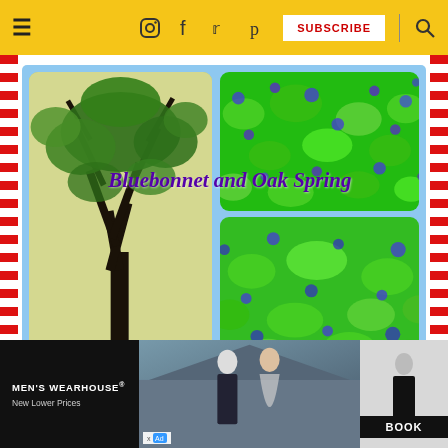Navigation bar with menu, social icons (Instagram, Facebook, Twitter, Pinterest), SUBSCRIBE button, and search icon on yellow background
[Figure (photo): Collage of three photos on light blue background: left - oak tree canopy viewed from below with dark branches against pale sky; top right - dense green bluebonnet field with purple-blue flowers; bottom right - close-up green foliage with small blue flowers. Overlaid italic text reads 'Bluebonnet and Oak Spring']
[Figure (photo): Advertisement for Men's Wearhouse featuring a couple in formal wear and a man in a suit, with 'MEN'S WEARHOUSE New Lower Prices' text and 'BOOK' button on dark background]